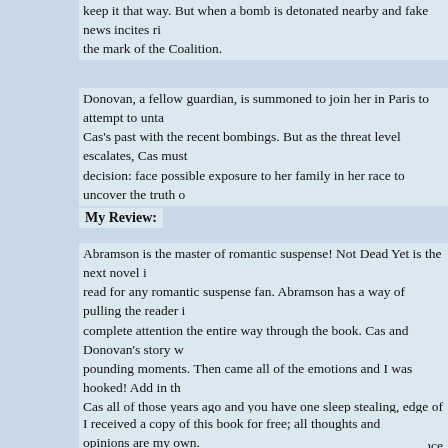keep it that way. But when a bomb is detonated nearby and fake news incites ri… the mark of the Coalition.
Donovan, a fellow guardian, is summoned to join her in Paris to attempt to unta… Cas's past with the recent bombings. But as the threat level escalates, Cas must… decision: face possible exposure to her family in her race to uncover the truth o…
My Review:
Abramson is the master of romantic suspense! Not Dead Yet is the next novel i… read for any romantic suspense fan. Abramson has a way of pulling the reader i… complete attention the entire way through the book. Cas and Donovan's story w… pounding moments. Then came all of the emotions and I was hooked! Add in th… Cas all of those years ago and you have one sleep stealing, edge of your seat, w… book! Sit down and get cozy because you won't be getting up once you start No…
I received a copy of this book for free; all thoughts and opinions are my own.
Happy Reading!!!
You can pick up your own copy via Amazon.